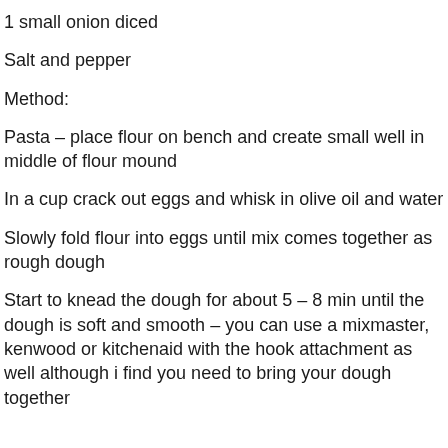1 small onion diced
Salt and pepper
Method:
Pasta – place flour on bench and create small well in middle of flour mound
In a cup crack out eggs and whisk in olive oil and water
Slowly fold flour into eggs until mix comes together as rough dough
Start to knead the dough for about 5 – 8 min until the dough is soft and smooth – you can use a mixmaster, kenwood or kitchenaid with the hook attachment as well although i find you need to bring your dough together